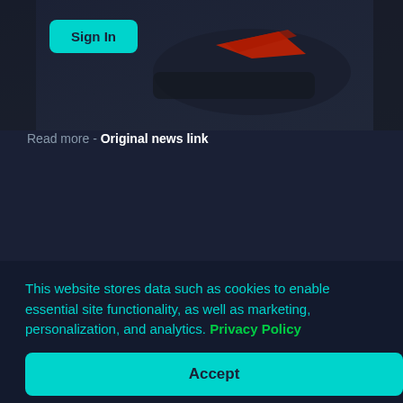[Figure (photo): Dark image showing a dark car/vehicle form with red accents against a dark background, with a 'Sign In' button overlaid in the top left]
by Linear Kaos , in New Music Releases , and
Take a listen to "Griztronics II (Another Level)" before it dominates the festival circuit.
Read more - Original news link
This website stores data such as cookies to enable essential site functionality, as well as marketing, personalization, and analytics. Privacy Policy
Accept
Deny
Similar News